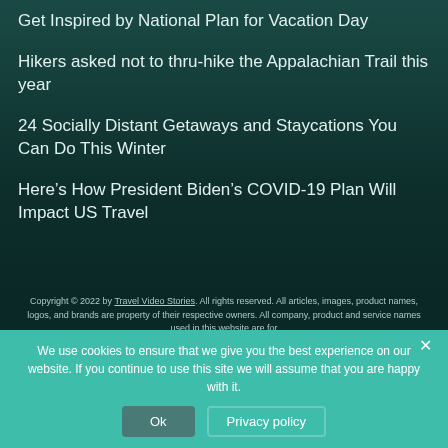Get Inspired by National Plan for Vacation Day
Hikers asked not to thru-hike the Appalachian Trail this year
24 Socially Distant Getaways and Staycations You Can Do This Winter
Here’s How President Biden’s COVID-19 Plan Will Impact US Travel
Copyright © 2022 by Travel Video Stories. All rights reserved. All articles, images, product names, logos, and brands are property of their respective owners. All company, product and service names used in this website are for
We use cookies to ensure that we give you the best experience on our website. If you continue to use this site we will assume that you are happy with it.